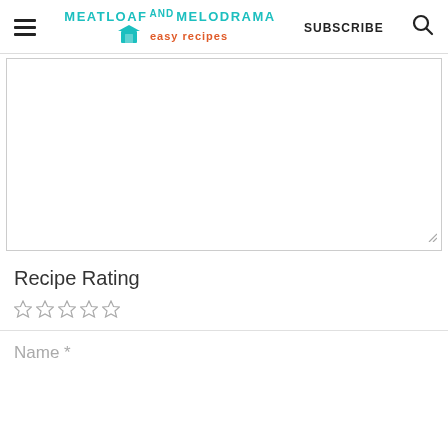MEATLOAF AND MELODRAMA easy recipes | SUBSCRIBE
[Figure (other): Comment text area input box, large empty white rectangle with resize handle at bottom right]
Recipe Rating
☆☆☆☆☆ (five empty star rating icons)
Name *